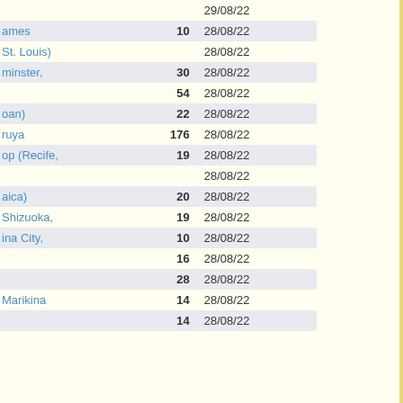| Name | Number | Date |
| --- | --- | --- |
|  |  | 29/08/22 |
| ames | 10 | 28/08/22 |
| St. Louis) |  | 28/08/22 |
| minster, | 30 | 28/08/22 |
|  | 54 | 28/08/22 |
| oan) | 22 | 28/08/22 |
| ruya | 176 | 28/08/22 |
| op (Recife, | 19 | 28/08/22 |
|  |  | 28/08/22 |
| aica) | 20 | 28/08/22 |
| Shizuoka, | 19 | 28/08/22 |
| ina City, | 10 | 28/08/22 |
|  | 16 | 28/08/22 |
|  | 28 | 28/08/22 |
| Marikina | 14 | 28/08/22 |
|  | 14 | 28/08/22 |